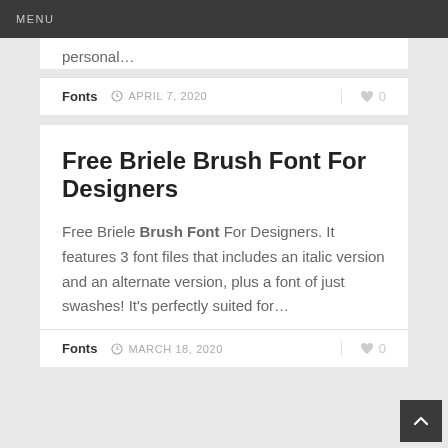MENU
personal…
Fonts   APRIL 7, 2020   ♥ 0
Free Briele Brush Font For Designers
Free Briele Brush Font For Designers. It features 3 font files that includes an italic version and an alternate version, plus a font of just swashes! It's perfectly suited for…
Fonts   MARCH 18, 2020   ♥ 0